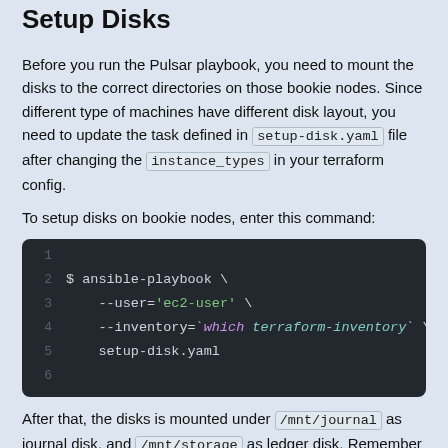Setup Disks
Before you run the Pulsar playbook, you need to mount the disks to the correct directories on those bookie nodes. Since different type of machines have different disk layout, you need to update the task defined in setup-disk.yaml file after changing the instance_types in your terraform config.
To setup disks on bookie nodes, enter this command:
[Figure (screenshot): Code block showing ansible-playbook command with --user='ec2-user', --inventory=`which terraform-inventory`, and setup-disk.yaml arguments]
After that, the disks is mounted under /mnt/journal as journal disk, and /mnt/storage as ledger disk. Remember to enter this command just only once. If you